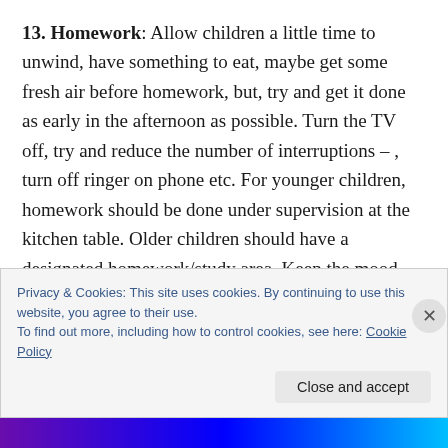13. Homework: Allow children a little time to unwind, have something to eat, maybe get some fresh air before homework, but, try and get it done as early in the afternoon as possible. Turn the TV off, try and reduce the number of interruptions – , turn off ringer on phone etc. For younger children, homework should be done under supervision at the kitchen table. Older children should have a designated homework/study area. Keep the mood positive, be encouraging, offer suggestions and help if required – DO NOT do it for them, no matter
Privacy & Cookies: This site uses cookies. By continuing to use this website, you agree to their use. To find out more, including how to control cookies, see here: Cookie Policy